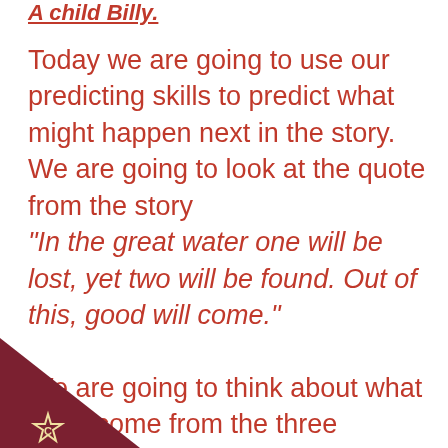A child Billy.
Today we are going to use our predicting skills to predict what might happen next in the story.
We are going to look at the quote from the story
"In the great water one will be lost, yet two will be found. Out of this, good will come."
We are going to think about what good come from the three children